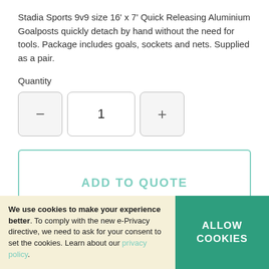Stadia Sports 9v9 size 16' x 7' Quick Releasing Aluminium Goalposts quickly detach by hand without the need for tools. Package includes goals, sockets and nets. Supplied as a pair.
Quantity
[Figure (other): Quantity selector with minus button, value 1, and plus button]
[Figure (other): ADD TO QUOTE button with teal border]
Delivery band 2
Find out more
Stadia Sports quick release socketed aluminium football goals
We use cookies to make your experience better. To comply with the new e-Privacy directive, we need to ask for your consent to set the cookies. Learn about our privacy policy.